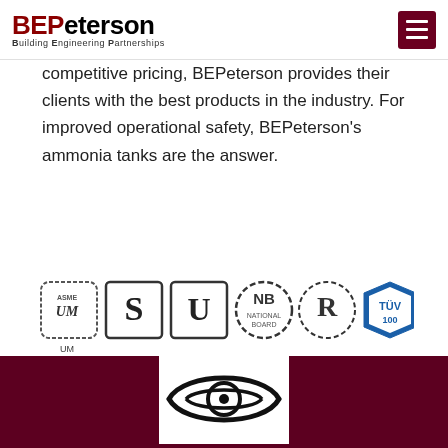BEPeterson Building Engineering Partnerships
competitive pricing, BEPeterson provides their clients with the best products in the industry. For improved operational safety, BEPeterson's ammonia tanks are the answer.
[Figure (logo): Row of certification logos: ASME UM, S (pressure vessel stamp), U (unfired pressure vessel), NB (National Board), R (repair stamp), TUV 100]
[Figure (logo): Eye-shaped logo in white box on dark maroon footer background]